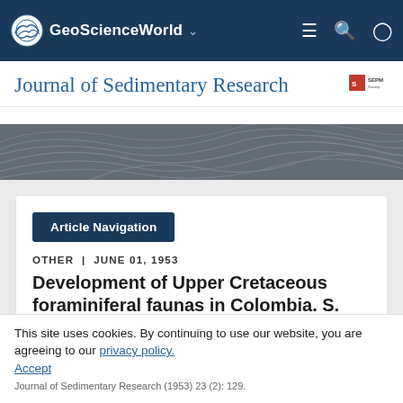GeoScienceWorld
Journal of Sedimentary Research
[Figure (illustration): Decorative topographic contour pattern banner in dark gray/brown tones]
Article Navigation
OTHER | JUNE 01, 1953
Development of Upper Cretaceous foraminiferal faunas in Colombia. S.
This site uses cookies. By continuing to use our website, you are agreeing to our privacy policy. Accept
Journal of Sedimentary Research (1953) 23 (2): 129.